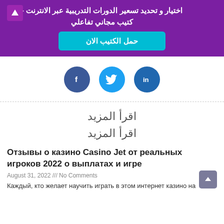اختيار و تحديد تسعير الدورات التدريبية عبر الانترنت - كتيب مجاني تفاعلي
حمل الكتيب الان
[Figure (illustration): Social share icons: Facebook (dark blue circle with f), Twitter (light blue circle with bird), LinkedIn (teal circle with in)]
اقرأ المزيد
اقرأ المزيد
Отзывы о казино Casino Jet от реальных игроков 2022 о выплатах и игре
August 31, 2022 /// No Comments
Каждый, кто желает научить играть в этом интернет казино на